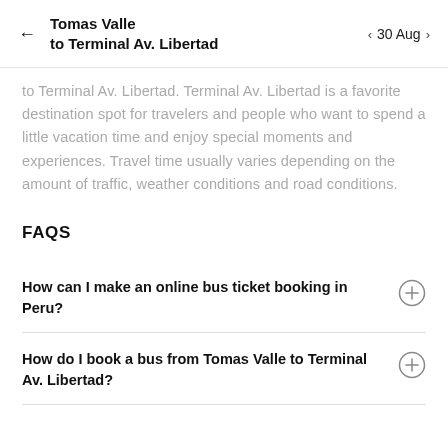Tomas Valle to Terminal Av. Libertad | 30 Aug
to Terminal Av. Libertad. Terminal Av. Libertad is a favorite destination spot for travelers and people who want to spend a little vacation time and enjoy special moments and experiences. Travel time usually varies depending on the amount of traffic, weather conditions and road conditions.
FAQS
How can I make an online bus ticket booking in Peru?
How do I book a bus from Tomas Valle to Terminal Av. Libertad?